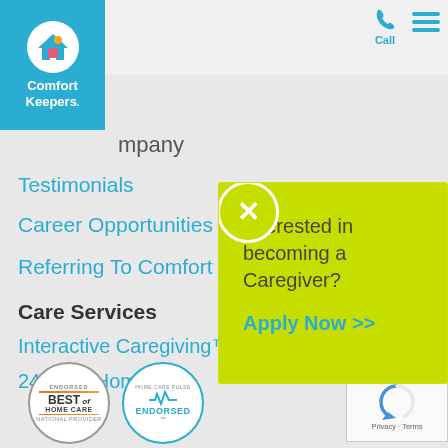[Figure (logo): Comfort Keepers logo with blue background, white circle with house icon, white text]
[Figure (screenshot): Phone call icon in teal/blue]
Call
[Figure (other): Hamburger menu icon - three horizontal teal lines]
mpany
Testimonials
Career Opportunities
Referring To Comfort Ke...
[Figure (screenshot): Yellow-green popup with X close button showing caregiver recruitment message]
Interested in becoming a Caregiver?
Apply Now >>
Care Services
Interactive Caregiving™
24 Hour Home Care
[Figure (logo): Best of Home Care Endorsed badge - circular seal]
[Figure (logo): Home Care Pulse Endorsed badge - circular seal]
[Figure (screenshot): reCAPTCHA widget with Privacy Terms text]